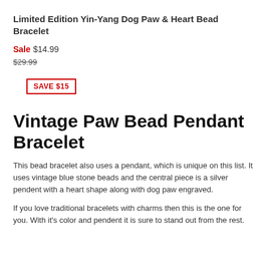Limited Edition Yin-Yang Dog Paw & Heart Bead Bracelet
Sale $14.99
$29.99
SAVE $15
Vintage Paw Bead Pendant Bracelet
This bead bracelet also uses a pendant, which is unique on this list. It uses vintage blue stone beads and the central piece is a silver pendent with a heart shape along with dog paw engraved.
If you love traditional bracelets with charms then this is the one for you. With it's color and pendent it is sure to stand out from the rest.